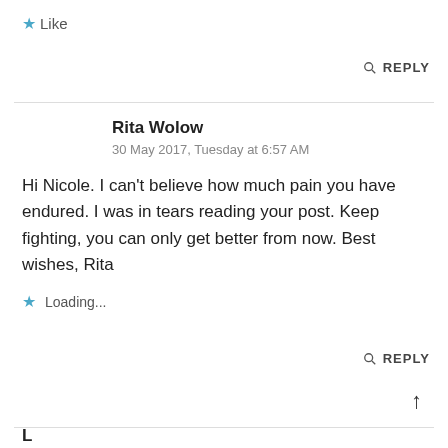★ Like
🔍 REPLY
Rita Wolow
30 May 2017, Tuesday at 6:57 AM
Hi Nicole. I can't believe how much pain you have endured. I was in tears reading your post. Keep fighting, you can only get better from now. Best wishes, Rita
★ Loading...
🔍 REPLY